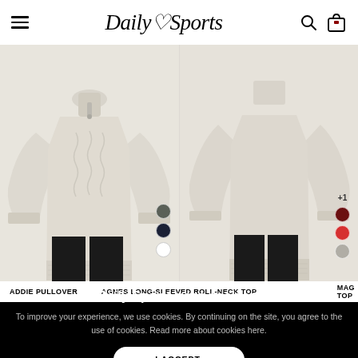Daily Sports
[Figure (photo): White cable-knit pullover sweater with quarter zip, modeled on a person wearing black pants. Color swatches shown: dark grey, navy, white.]
[Figure (photo): Cream/beige long-sleeved roll-neck top, modeled on a person wearing black pants. Color swatches shown: dark red, red, beige/grey, with +1 badge.]
ADDIE PULLOVER
AGNES LONG-SLEEVED ROLL-NECK TOP
MAG TOP
Daily Sports uses cookies.
To improve your experience, we use cookies. By continuing on the site, you agree to the use of cookies. Read more about cookies here.
I ACCEPT.